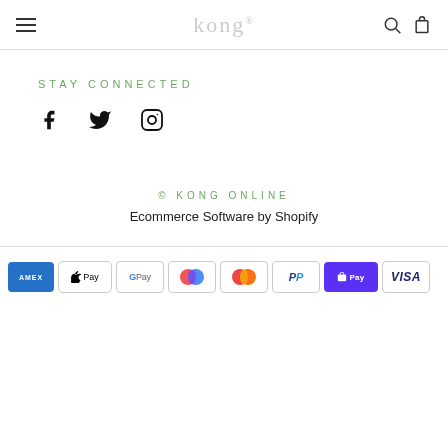kong.
STAY CONNECTED
[Figure (other): Social media icons: Facebook, Twitter, Instagram]
© KONG ONLINE
Ecommerce Software by Shopify
[Figure (other): Payment method icons: American Express, Apple Pay, Google Pay, Maestro, Mastercard, PayPal, Shop Pay, Visa]